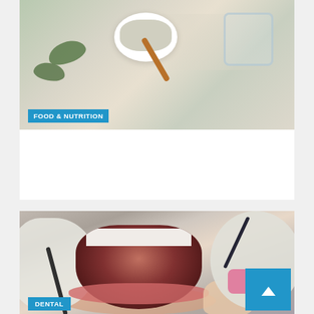[Figure (photo): Photo of a bowl with powder/seeds, a wooden spoon, eucalyptus leaves, and a glass of water on a gray surface. Blue 'FOOD & NUTRITION' badge overlaid at bottom-left.]
What Are Peptides?
August 28, 2022   Sereda
[Figure (photo): Close-up photo of a dental procedure: a patient's open mouth with teeth, surrounded by gloved hands holding dental tools and a pink instrument. Blue 'DENTAL' badge overlaid at bottom-left. Blue scroll-to-top button at bottom-right.]